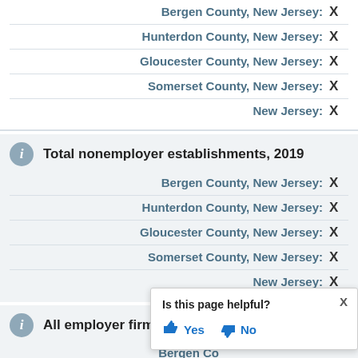Total employment, percent change, 2021-2022
Bergen County, New Jersey: X
Hunterdon County, New Jersey: X
Gloucester County, New Jersey: X
Somerset County, New Jersey: X
New Jersey: X
Total nonemployer establishments, 2019
Bergen County, New Jersey: X
Hunterdon County, New Jersey: X
Gloucester County, New Jersey: X
Somerset County, New Jersey: X
New Jersey: X
All employer firms, Reference year
Bergen County, New Jersey: